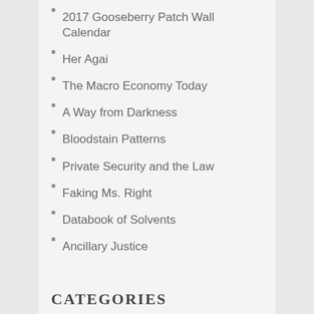2017 Gooseberry Patch Wall Calendar
Her Agai
The Macro Economy Today
A Way from Darkness
Bloodstain Patterns
Private Security and the Law
Faking Ms. Right
Databook of Solvents
Ancillary Justice
CATEGORIES